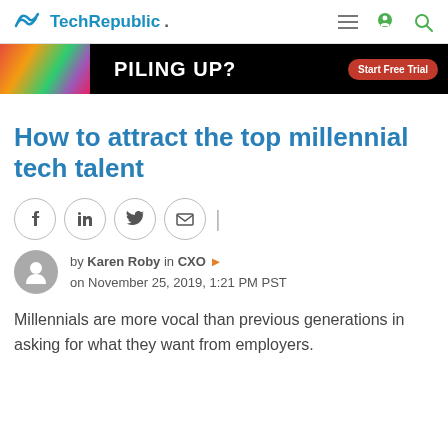TechRepublic.
[Figure (infographic): Advertisement banner: colorful image on left, PILING UP? text in white on black background, Start Free Trial red button on right]
How to attract the top millennial tech talent
[Figure (infographic): Social share buttons: Facebook, LinkedIn, Twitter, Email icons in circles]
by Karen Roby in CXO on November 25, 2019, 1:21 PM PST
Millennials are more vocal than previous generations in asking for what they want from employers.